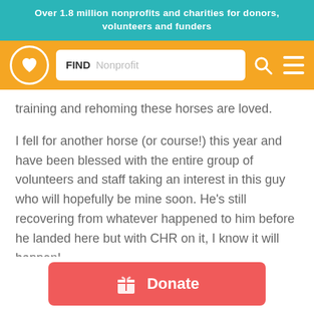Over 1.8 million nonprofits and charities for donors, volunteers and funders
[Figure (screenshot): Website navigation bar with logo (heart in circle), FIND Nonprofit search box, search icon, and hamburger menu on orange background]
training and rehoming these horses are loved.
I fell for another horse (or course!) this year and have been blessed with the entire group of volunteers and staff taking an interest in this guy who will hopefully be mine soon. He's still recovering from whatever happened to him before he landed here but with CHR on it, I know it will happen!
The individualized care given to each horse is what
[Figure (other): Red Donate button with gift box icon]